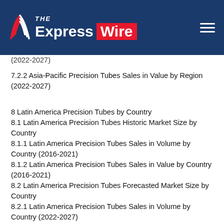[Figure (logo): The Express Wire logo on dark blue header bar with hamburger menu icon]
(2022-2027)
7.2.2 Asia-Pacific Precision Tubes Sales in Value by Region (2022-2027)
8 Latin America Precision Tubes by Country
8.1 Latin America Precision Tubes Historic Market Size by Country
8.1.1 Latin America Precision Tubes Sales in Volume by Country (2016-2021)
8.1.2 Latin America Precision Tubes Sales in Value by Country (2016-2021)
8.2 Latin America Precision Tubes Forecasted Market Size by Country
8.2.1 Latin America Precision Tubes Sales in Volume by Country (2022-2027)
8.2.2 Latin America Precision Tubes Sales in Value by Country (2022-2027)